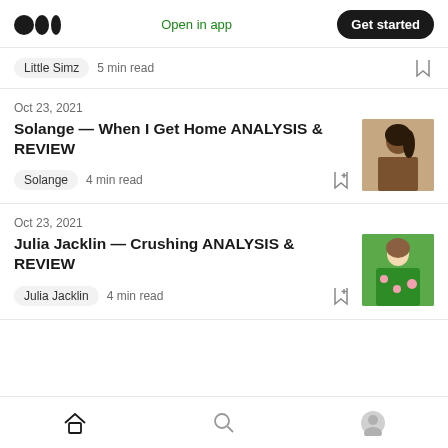Medium logo | Open in app | Get started
Little Simz  5 min read
Oct 23, 2021
Solange — When I Get Home ANALYSIS & REVIEW
Solange  4 min read
Oct 23, 2021
Julia Jacklin — Crushing ANALYSIS & REVIEW
Julia Jacklin  4 min read
Home | Search | Profile